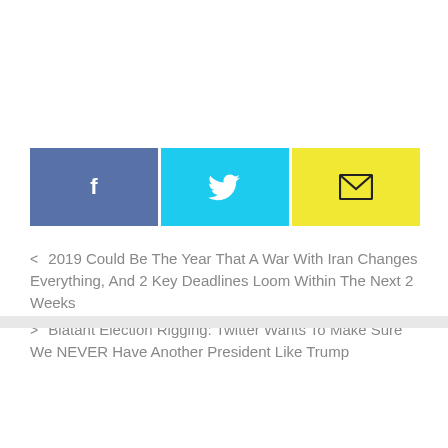[Figure (infographic): Three social sharing buttons side by side: Facebook (blue with 'f' icon), Twitter (cyan with bird icon), Email (yellow with envelope icon)]
< 2019 Could Be The Year That A War With Iran Changes Everything, And 2 Key Deadlines Loom Within The Next 2 Weeks
> Blatant Election Rigging: Twitter Wants To Make Sure We NEVER Have Another President Like Trump